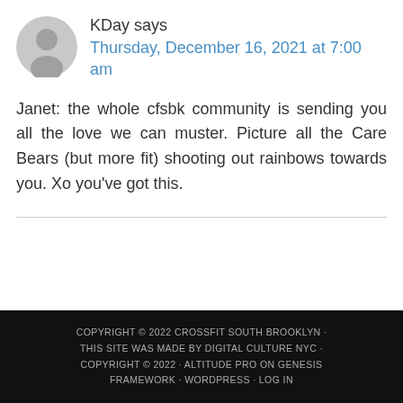[Figure (illustration): Gray circular avatar icon with a generic person silhouette]
KDay says
Thursday, December 16, 2021 at 7:00 am
Janet: the whole cfsbk community is sending you all the love we can muster. Picture all the Care Bears (but more fit) shooting out rainbows towards you. Xo you've got this.
COPYRIGHT © 2022 CROSSFIT SOUTH BROOKLYN · THIS SITE WAS MADE BY DIGITAL CULTURE NYC · COPYRIGHT © 2022 · ALTITUDE PRO ON GENESIS FRAMEWORK · WORDPRESS · LOG IN